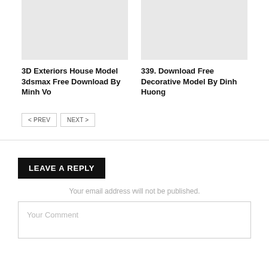[Figure (photo): Placeholder image for 3D Exteriors House Model card]
[Figure (photo): Placeholder image for Decorative Model card]
3D Exteriors House Model 3dsmax Free Download By Minh Vo
339. Download Free Decorative Model By Dinh Huong
< PREV
NEXT >
LEAVE A REPLY
Your email address will not be published.
Your Comment